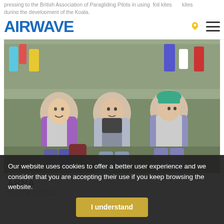...pressing to the British Association of Paragliding Pilots in using foil kites... kites during the development of the Koala.
AIRWAVE [logo] [location icon] [menu icon]
[Figure (photo): Group photo of three men in colorful 1990s-style paragliding/outdoor gear (purple, grey, teal), sitting outdoors on grass with a crowd behind them.]
ARNA
MARKETING
...
Our website uses cookies to offer a better user experience and we consider that you are accepting their use if you keep browsing the website. I understand